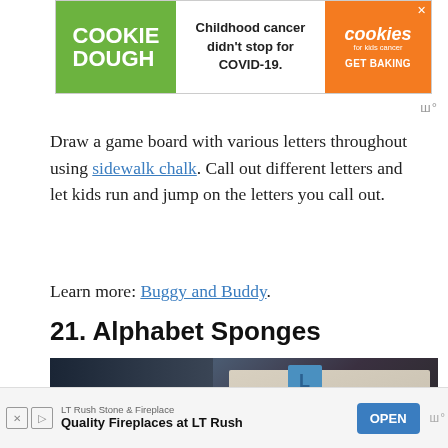[Figure (other): Advertisement banner: Cookie Dough text on green background left, 'Childhood cancer didn't stop for COVID-19.' center text, orange cookies for kids cancer GET BAKING right section]
Draw a game board with various letters throughout using sidewalk chalk. Call out different letters and let kids run and jump on the letters you call out.
Learn more: Buggy and Buddy
21. Alphabet Sponges
[Figure (photo): Child reaching into a container with colorful foam/sponge alphabet letters]
[Figure (other): Advertisement banner bottom: LT Rush Stone & Fireplace - Quality Fireplaces at LT Rush, OPEN button]